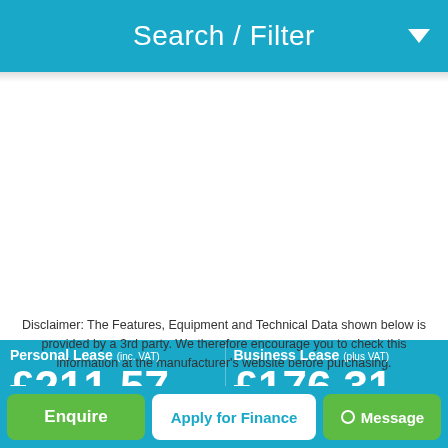Search / Filter
Disclaimer: The Features, Equipment and Technical Data shown below is provided by a 3rd party. We therefore encourage you to check this information at the manufacturer's website before purchasing.
Personal Lease (inc. VAT) £211.57 pm
Initial Rental £2,538.81
Business Lease (plus VAT) £176.31 pm
Initial Rental £2,115.66
Enquire
Apply for Finance
Message